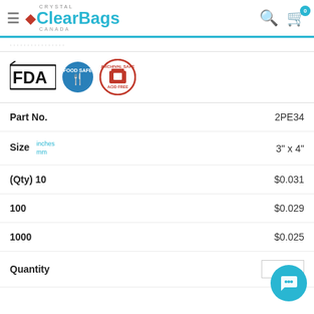[Figure (logo): Crystal ClearBags Canada logo with maple leaf icon and teal/cyan text]
breadcrumb navigation text (partially visible)
[Figure (infographic): Three certification badges: FDA approved, Food Safe (blue circle with fork/knife), Archival Safe Acid Free (red circle)]
| Label | Value |
| --- | --- |
| Part No. | 2PE34 |
| Size inches / mm | 3" x 4" |
| (Qty) 10 | $0.031 |
| 100 | $0.029 |
| 1000 | $0.025 |
| Quantity |  |